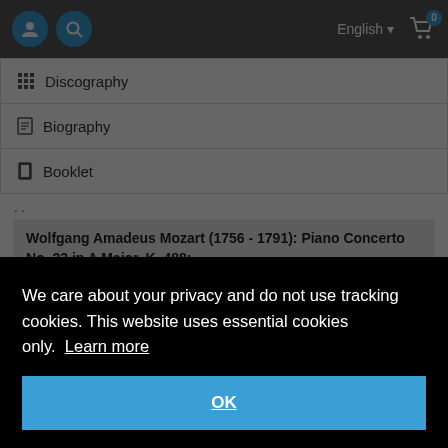English  0 (cart)
Discography
Biography
Booklet
..
Wolfgang Amadeus Mozart (1756 - 1791): Piano Concerto No. 23 in A Major, K. 488:
11:05
06:50
07:52
Recitative and Final
We care about your privacy and do not use tracking cookies. This website uses essential cookies only. Learn more
OK